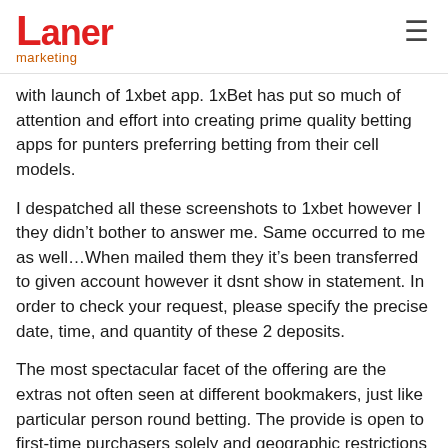Laner marketing
with launch of 1xbet app. 1xBet has put so much of attention and effort into creating prime quality betting apps for punters preferring betting from their cell models.
I despatched all these screenshots to 1xbet however I they didn't bother to answer me. Same occurred to me as well…When mailed them they it's been transferred to given account however it dsnt show in statement. In order to check your request, please specify the precise date, time, and quantity of these 2 deposits.
The most spectacular facet of the offering are the extras not often seen at different bookmakers, just like particular person round betting. The provide is open to first-time purchasers solely and geographic restrictions will apply. The minimal stake for the same is 1 EUR, and likewise you